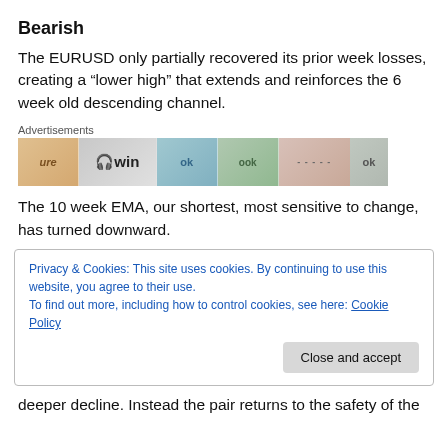Bearish
The EURUSD only partially recovered its prior week losses, creating a “lower high” that extends and reinforces the 6 week old descending channel.
[Figure (other): Advertisement banner with colorful segments showing logos and text]
The 10 week EMA, our shortest, most sensitive to change, has turned downward.
Privacy & Cookies: This site uses cookies. By continuing to use this website, you agree to their use.
To find out more, including how to control cookies, see here: Cookie Policy
deeper decline. Instead the pair returns to the safety of the